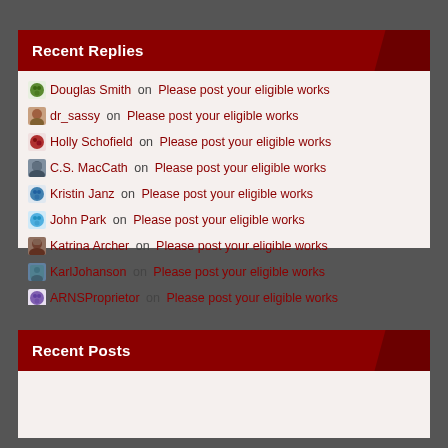Recent Replies
Douglas Smith on Please post your eligible works
dr_sassy on Please post your eligible works
Holly Schofield on Please post your eligible works
C.S. MacCath on Please post your eligible works
Kristin Janz on Please post your eligible works
John Park on Please post your eligible works
Katrina Archer on Please post your eligible works
KarlJohanson on Please post your eligible works
ARNSProprietor on Please post your eligible works
Recent Posts